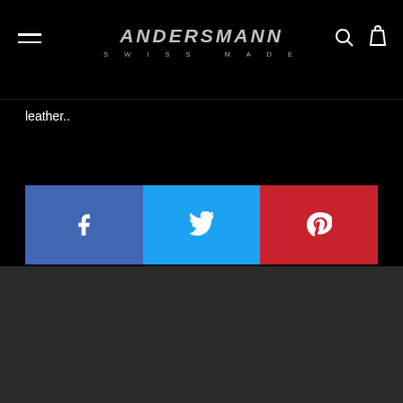ANDERSMANN SWISS MADE
leather..
[Figure (infographic): Social sharing buttons: Facebook (blue), Twitter (light blue), Pinterest (red)]